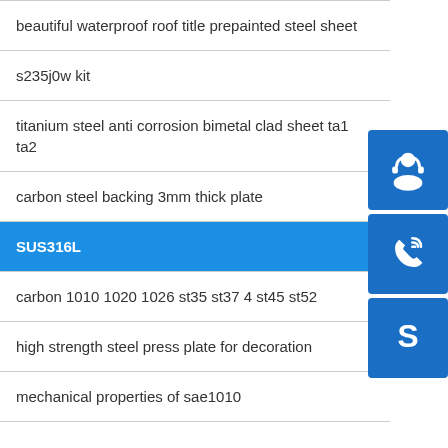| beautiful waterproof roof title prepainted steel sheet |
| s235j0w kit |
| titanium steel anti corrosion bimetal clad sheet ta1 ta2 |
| carbon steel backing 3mm thick plate |
| SUS316L |
| carbon 1010 1020 1026 st35 st37 4 st45 st52 |
| high strength steel press plate for decoration |
| mechanical properties of sae1010 |